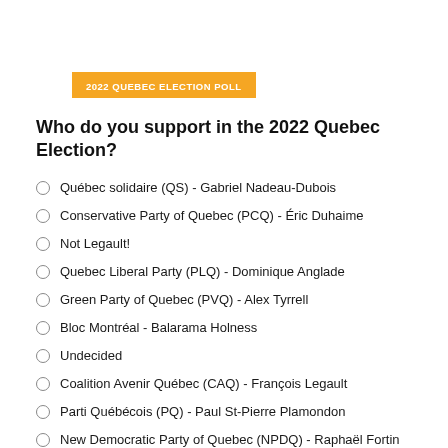2022 QUEBEC ELECTION POLL
Who do you support in the 2022 Quebec Election?
Québec solidaire (QS) - Gabriel Nadeau-Dubois
Conservative Party of Quebec (PCQ) - Éric Duhaime
Not Legault!
Quebec Liberal Party (PLQ) - Dominique Anglade
Green Party of Quebec (PVQ) - Alex Tyrrell
Bloc Montréal - Balarama Holness
Undecided
Coalition Avenir Québec (CAQ) - François Legault
Parti Québécois (PQ) - Paul St-Pierre Plamondon
New Democratic Party of Quebec (NPDQ) - Raphaël Fortin
Other